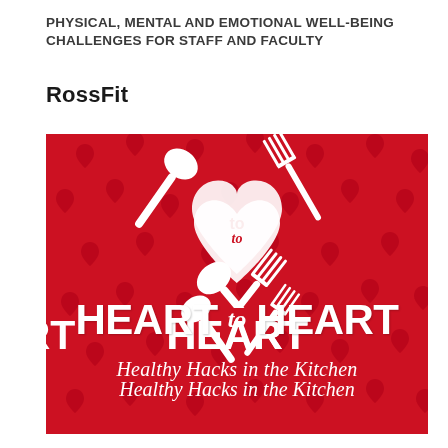PHYSICAL, MENTAL AND EMOTIONAL WELL-BEING CHALLENGES FOR STAFF AND FACULTY
RossFit
[Figure (logo): Heart to Heart: Healthy Hacks in the Kitchen logo on a red background with heart pattern. Features a white heart shape with a spoon and fork crossed over it, bold white text reading HEART TO HEART, and italic subtitle Healthy Hacks in the Kitchen.]